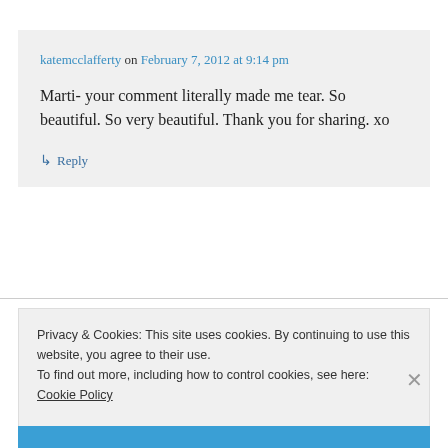katemcclafferty on February 7, 2012 at 9:14 pm
Marti- your comment literally made me tear. So beautiful. So very beautiful. Thank you for sharing. xo
↳ Reply
Privacy & Cookies: This site uses cookies. By continuing to use this website, you agree to their use. To find out more, including how to control cookies, see here: Cookie Policy
Close and accept